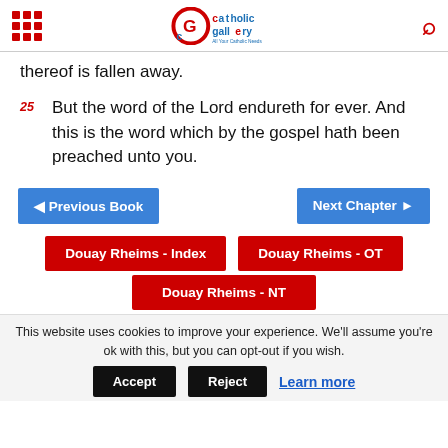Catholic Gallery - All Your Catholic Needs
thereof is fallen away.
25 But the word of the Lord endureth for ever. And this is the word which by the gospel hath been preached unto you.
◄ Previous Book
Next Chapter ►
Douay Rheims - Index
Douay Rheims - OT
Douay Rheims - NT
This website uses cookies to improve your experience. We'll assume you're ok with this, but you can opt-out if you wish.
Accept
Reject
Learn more